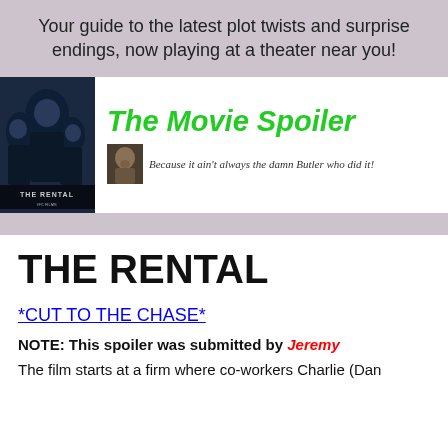Your guide to the latest plot twists and surprise endings, now playing at a theater near you!
[Figure (illustration): The Movie Spoiler website logo banner with movie poster for The Rental on the left, the site title 'The Movie Spoiler' in green italic, a small thumbnail of a man's face, and the tagline 'Because it ain't always the damn Butler who did it!']
THE RENTAL
*CUT TO THE CHASE*
NOTE: This spoiler was submitted by Jeremy
The film starts at a firm where co-workers Charlie (Dan